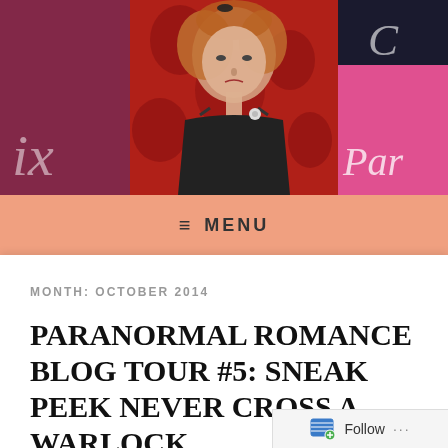[Figure (photo): Blog header banner with three panels: left panel shows dark purple/maroon background with italic script text 'ix', center panel shows a woman with curly blonde/red hair against a red damask-patterned background, right panel shows a pink/magenta gradient background with dark stripe at top and script text 'Par']
≡ MENU
MONTH: OCTOBER 2014
PARANORMAL ROMANCE BLOG TOUR #5: SNEAK PEEK NEVER CROSS A WARLOCK